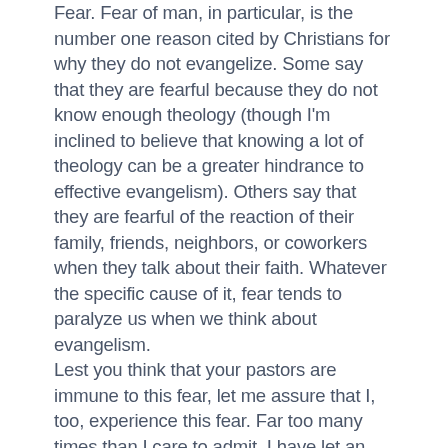Fear. Fear of man, in particular, is the number one reason cited by Christians for why they do not evangelize. Some say that they are fearful because they do not know enough theology (though I'm inclined to believe that knowing a lot of theology can be a greater hindrance to effective evangelism). Others say that they are fearful of the reaction of their family, friends, neighbors, or coworkers when they talk about their faith. Whatever the specific cause of it, fear tends to paralyze us when we think about evangelism. Lest you think that your pastors are immune to this fear, let me assure that I, too, experience this fear. Far too many times than I care to admit, I have let an opportunity to testify to the good news of